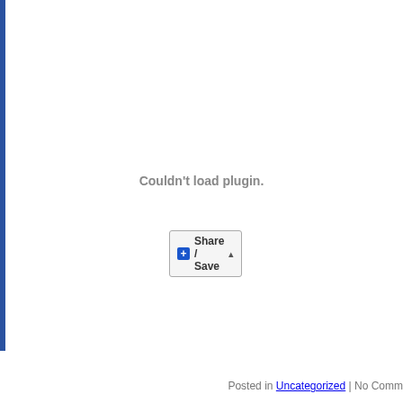[Figure (screenshot): Plugin error area: large white rectangle with left blue border bar, showing 'Couldn't load plugin.' message in gray centered text]
Couldn't load plugin.
[Figure (screenshot): Share/Save button with blue plus icon, text 'Share / Save' and a dropdown arrow]
Posted in Uncategorized | No Comm